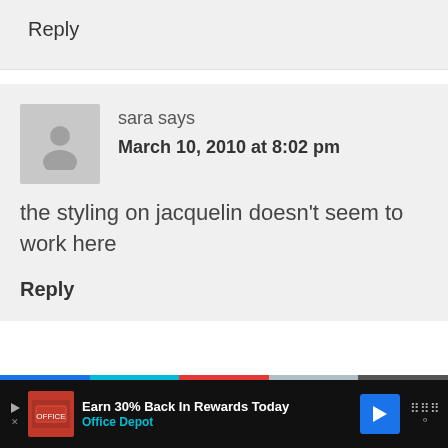Reply
sara says
March 10, 2010 at 8:02 pm
the styling on jacquelin doesn't seem to work here
Reply
[Figure (infographic): Advertisement banner: Earn 30% Back In Rewards Today - Office Depot]
Earn 30% Back In Rewards Today Office Depot